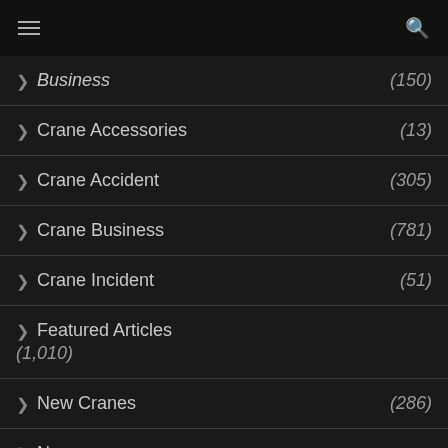Navigation menu with hamburger and search icons
> Business (150)
> Crane Accessories (13)
> Crane Accident (305)
> Crane Business (781)
> Crane Incident (51)
> Featured Articles (1,010)
> New Cranes (286)
> News (1,048)